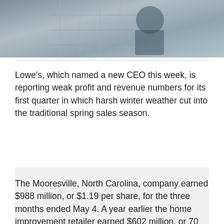[Figure (photo): A person handling wire shelving or a cart in what appears to be a retail store environment.]
Lowe's, which named a new CEO this week, is reporting weak profit and revenue numbers for its first quarter in which harsh winter weather cut into the traditional spring sales season.
[Figure (other): Advertisement or placeholder block with light gray background.]
The Mooresville, North Carolina, company earned $988 million, or $1.19 per share, for the three months ended May 4. A year earlier the home improvement retailer earned $602 million, or 70 cents per share.